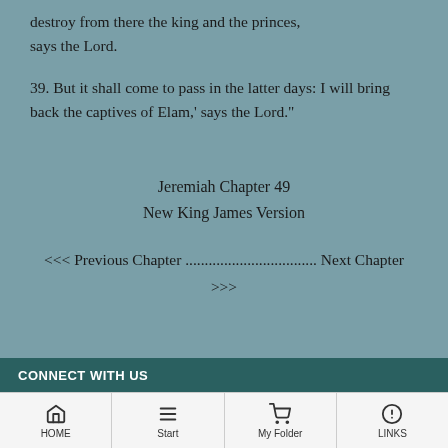destroy from there the king and the princes, says the Lord.
39. But it shall come to pass in the latter days: I will bring back the captives of Elam,' says the Lord."
Jeremiah Chapter 49
New King James Version
<<< Previous Chapter ................................. Next Chapter >>>
CONNECT WITH US
HOME | Start | My Folder | LINKS